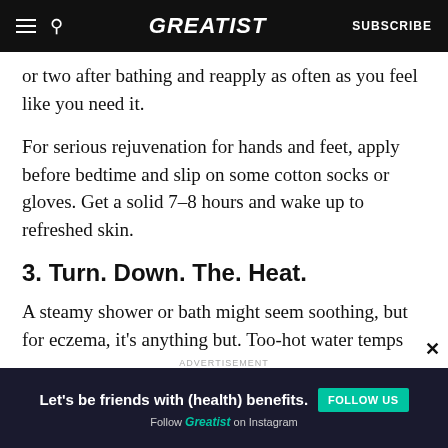GREATIST | SUBSCRIBE
or two after bathing and reapply as often as you feel like you need it.
For serious rejuvenation for hands and feet, apply before bedtime and slip on some cotton socks or gloves. Get a solid 7–8 hours and wake up to refreshed skin.
3. Turn. Down. The. Heat.
A steamy shower or bath might seem soothing, but for eczema, it's anything but. Too-hot water temps
ADVERTISEMENT
[Figure (other): Advertisement banner: Let's be friends with (health) benefits. Follow GREATIST on Instagram. FOLLOW US button.]